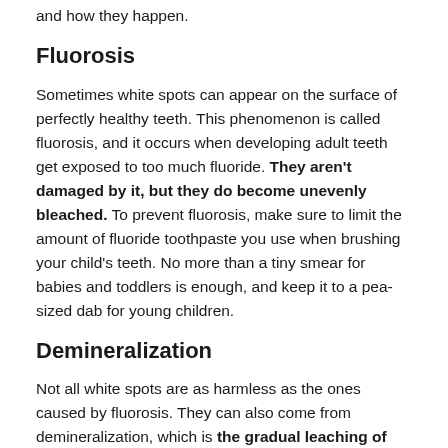and how they happen.
Fluorosis
Sometimes white spots can appear on the surface of perfectly healthy teeth. This phenomenon is called fluorosis, and it occurs when developing adult teeth get exposed to too much fluoride. They aren't damaged by it, but they do become unevenly bleached. To prevent fluorosis, make sure to limit the amount of fluoride toothpaste you use when brushing your child's teeth. No more than a tiny smear for babies and toddlers is enough, and keep it to a pea-sized dab for young children.
Demineralization
Not all white spots are as harmless as the ones caused by fluorosis. They can also come from demineralization, which is the gradual leaching of crucial minerals (like calcium) from the tooth enamel, leaving it weaker. How